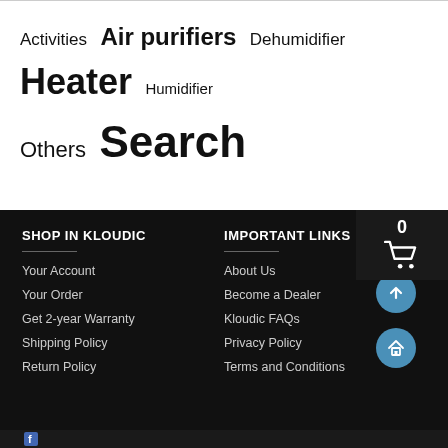Activities Air purifiers Dehumidifier Heater Humidifier Others Search
SHOP IN KLOUDIC
Your Account
Your Order
Get 2-year Warranty
Shipping Policy
Return Policy
IMPORTANT LINKS
About Us
Become a Dealer
Kloudic FAQs
Privacy Policy
Terms and Conditions